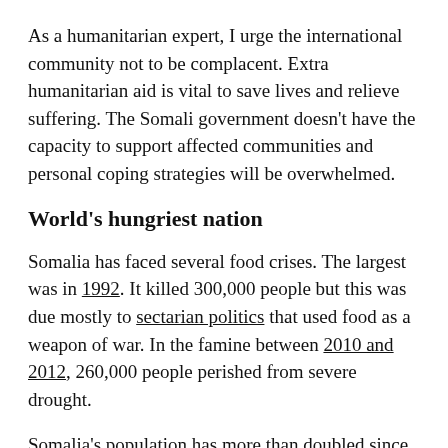As a humanitarian expert, I urge the international community not to be complacent. Extra humanitarian aid is vital to save lives and relieve suffering. The Somali government doesn't have the capacity to support affected communities and personal coping strategies will be overwhelmed.
World's hungriest nation
Somalia has faced several food crises. The largest was in 1992. It killed 300,000 people but this was due mostly to sectarian politics that used food as a weapon of war. In the famine between 2010 and 2012, 260,000 people perished from severe drought.
Somalia's population has more than doubled since the 1990s to reach 16 million now. A global methodology – estimating the severity of food